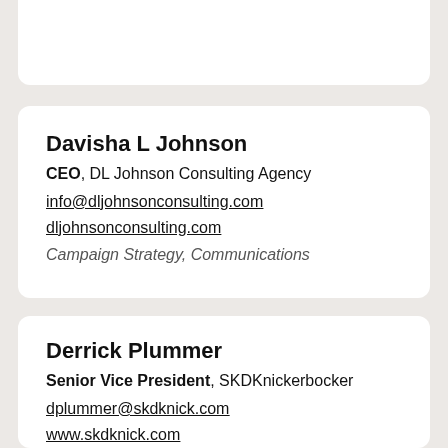Davisha L Johnson
CEO, DL Johnson Consulting Agency
info@dljohnsonconsulting.com
dljohnsonconsulting.com
Campaign Strategy, Communications
Derrick Plummer
Senior Vice President, SKDKnickerbocker
dplummer@skdknick.com
www.skdknick.com